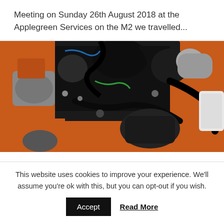Meeting on Sunday 26th August 2018 at the Applegreen Services on the M2 we travelled...
[Figure (photo): Close-up photograph of a car engine bay showing orange engine components, black hoses, wiring, and various mechanical parts including what appears to be a modified classic car engine]
This website uses cookies to improve your experience. We'll assume you're ok with this, but you can opt-out if you wish.